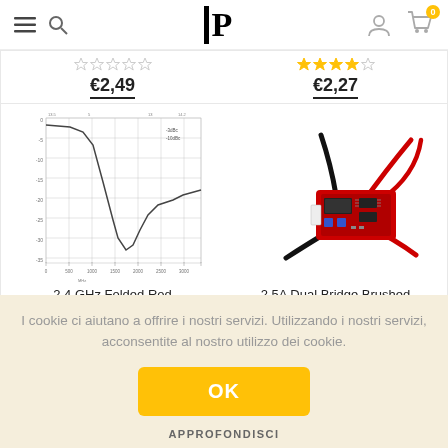IP logo with hamburger menu, search, user, cart icons
[Figure (continuous-plot): Graph/chart showing frequency response curve, grid with axes, small legend top-right]
[Figure (photo): 2.5A Dual Bridge Brushed motor driver module with red PCB and black/red wires]
2.4 GHz Folded Rod
2.5A Dual Bridge Brushed
I cookie ci aiutano a offrire i nostri servizi. Utilizzando i nostri servizi, acconsentite al nostro utilizzo dei cookie.
OK
APPROFONDISCI